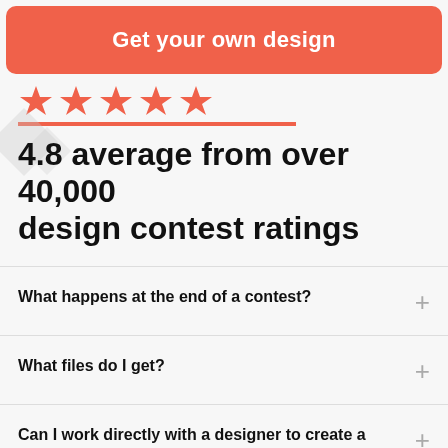Get your own design
[Figure (illustration): Five red star rating icons in a row with decorative diamond shapes]
4.8 average from over 40,000 design contest ratings
What happens at the end of a contest?
What files do I get?
Can I work directly with a designer to create a app?